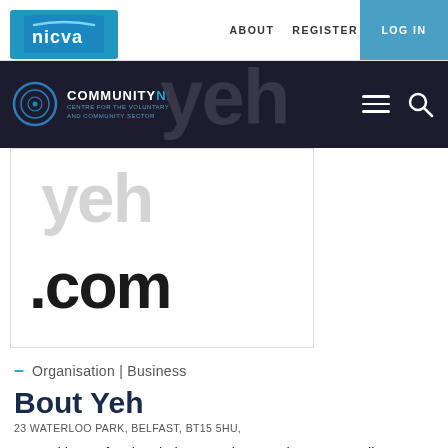nicva | ABOUT REGISTER LOG IN
[Figure (screenshot): CommunityNI logo and navigation bar with hamburger menu and search icon on dark background, with large 'yeh .com' text below]
– Organisation | Business
Bout Yeh
23 WATERLOO PARK, BELFAST, BT15 5HU,
Started by professional photographer Stephen S T Bradley (experienced shooting for editorial, community, PR, corporate and advertising clients worldwide ) Bout Yeh is an online magazine celebrating the best about Northern Ireland. Receiving 290,000 impressions / views a month across our Social Media, we would like to